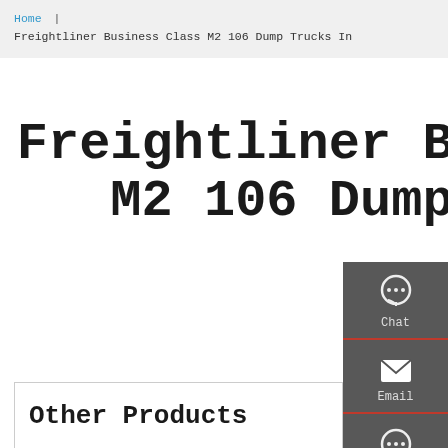Home | Freightliner Business Class M2 106 Dump Trucks In
Freightliner Business Class M2 106 Dump Trucks In
[Figure (infographic): Side panel with Chat, Email, Contact, and Top navigation icons on dark gray background]
Other Products